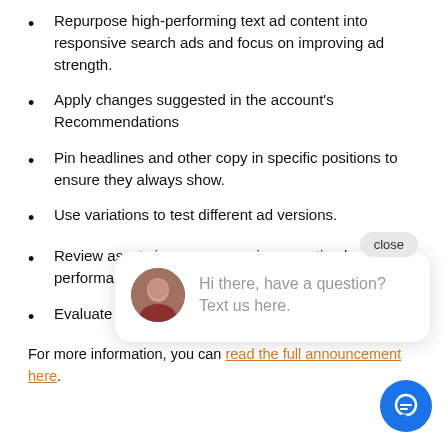Repurpose high-performing text ad content into responsive search ads and focus on improving ad strength.
Apply changes suggested in the account's Recommendations
Pin headlines and other copy in specific positions to ensure they always show.
Use variations to test different ad versions.
Review assets in cross-campaign reporting based on performance
Evaluate inc[remental] conversions
For more information, you can read the full announcement here.